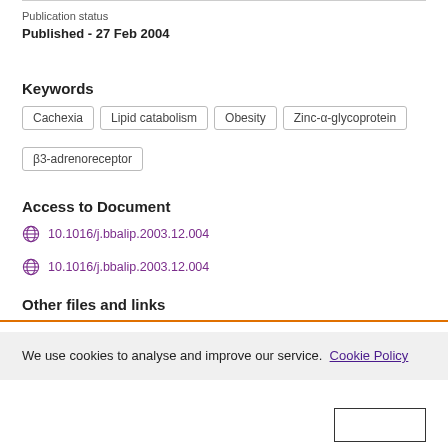Publication status
Published - 27 Feb 2004
Keywords
Cachexia
Lipid catabolism
Obesity
Zinc-α-glycoprotein
β3-adrenoreceptor
Access to Document
10.1016/j.bbalip.2003.12.004
10.1016/j.bbalip.2003.12.004
Other files and links
We use cookies to analyse and improve our service.  Cookie Policy